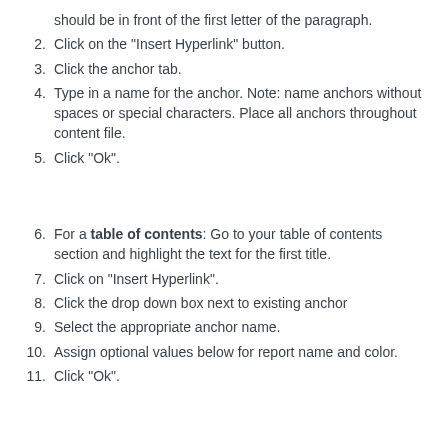should be in front of the first letter of the paragraph.
Click on the "Insert Hyperlink" button.
Click the anchor tab.
Type in a name for the anchor. Note: name anchors without spaces or special characters. Place all anchors throughout content file.
Click "Ok".
For a table of contents: Go to your table of contents section and highlight the text for the first title.
Click on "Insert Hyperlink".
Click the drop down box next to existing anchor
Select the appropriate anchor name.
Assign optional values below for report name and color.
Click "Ok".